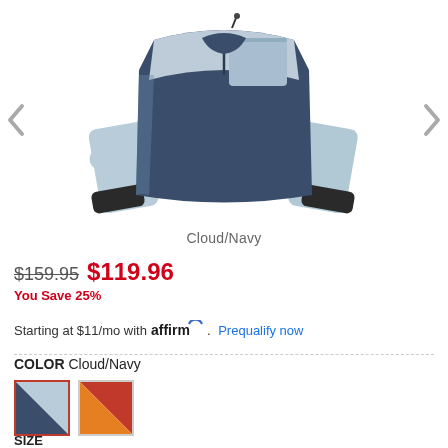[Figure (photo): A pullover anorak jacket in Cloud/Navy colorway — navy blue body with light blue/grey sleeves and chest panel, black cuffs, half-zip front with chest pocket]
Cloud/Navy
$159.95 $119.96
You Save 25%
Starting at $11/mo with affirm. Prequalify now
COLOR Cloud/Navy
[Figure (photo): Color swatch: Cloud/Navy (light blue and dark navy split diagonal)]
[Figure (photo): Color swatch: Red/Orange colorway]
SIZE